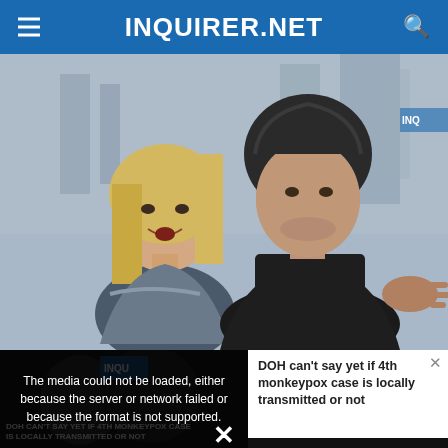INQUIRER.NET
[Figure (photo): Two people (a blonde woman and a man in a dark hoodie) photographed outdoors in an urban setting, looking alert or surprised.]
[Figure (screenshot): Video player with error message: 'The media could not be loaded, either because the server or network failed or because the format is not supported.' Thumbnail shows text 'DOH CAN'T SAY YET IF 4TH MONKEYPOX CASE IS LOCALLY TRANSMITTED OR NOT'. Right panel shows headline text 'DOH can't say yet if 4th monkeypox case is locally transmitted or not'. Close X button visible.]